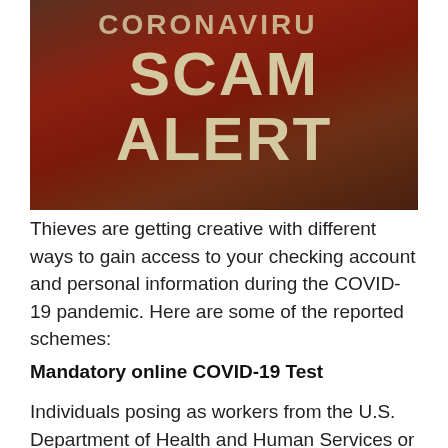[Figure (photo): A close-up photo of a sign with dark red/brown background and cream/tan text reading 'CORONAVIRUS SCAM ALERT' in bold capital letters]
Thieves are getting creative with different ways to gain access to your checking account and personal information during the COVID-19 pandemic. Here are some of the reported schemes:
Mandatory online COVID-19 Test
Individuals posing as workers from the U.S. Department of Health and Human Services or other federal departments use text messages to